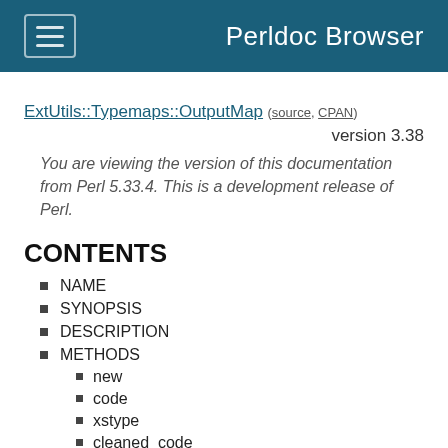Perldoc Browser
ExtUtils::Typemaps::OutputMap (source, CPAN)
version 3.38
You are viewing the version of this documentation from Perl 5.33.4. This is a development release of Perl.
CONTENTS
NAME
SYNOPSIS
DESCRIPTION
METHODS
new
code
xstype
cleaned_code
targetable
SEE ALSO